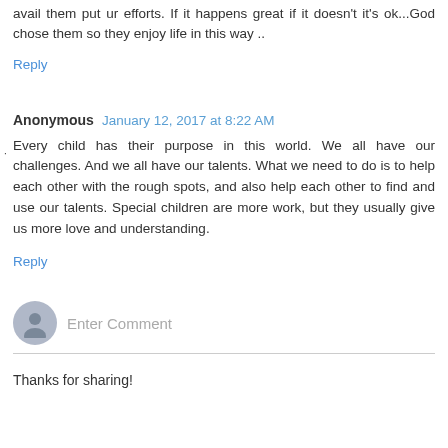avail them put ur efforts. If it happens great if it doesn't it's ok...God chose them so they enjoy life in this way ..
Reply
Anonymous  January 12, 2017 at 8:22 AM
Every child has their purpose in this world. We all have our challenges. And we all have our talents. What we need to do is to help each other with the rough spots, and also help each other to find and use our talents. Special children are more work, but they usually give us more love and understanding.
Reply
Enter Comment
Thanks for sharing!